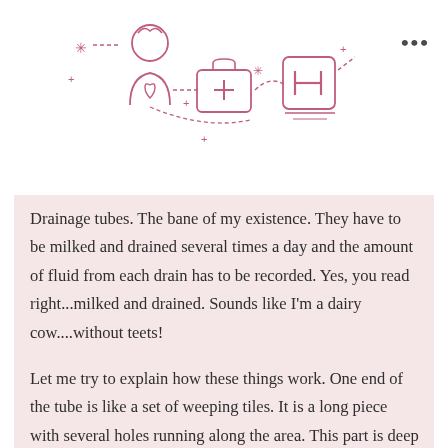[Figure (illustration): Medical icons in pink outline style: a nurse/doctor figure, a medical kit/briefcase with cross, a hospital building icon with H, connected by dashed lines and decorative plus signs and asterisks]
Drainage tubes. The bane of my existence. They have to be milked and drained several times a day and the amount of fluid from each drain has to be recorded. Yes, you read right...milked and drained. Sounds like I'm a dairy cow....without teets!
Let me try to explain how these things work. One end of the tube is like a set of weeping tiles. It is a long piece with several holes running along the area. This part is deep inside my chest just below the crease under